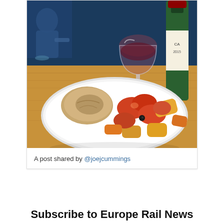[Figure (photo): Photo of a white plate with roasted vegetables (tomatoes, potatoes, squash/pumpkin pieces) and a bread roll with sauce, on a wooden table with a glass of red wine and a wine bottle in the background. A person in a blue jacket is visible in the upper left background.]
A post shared by @joejcummings
Subscribe to Europe Rail News